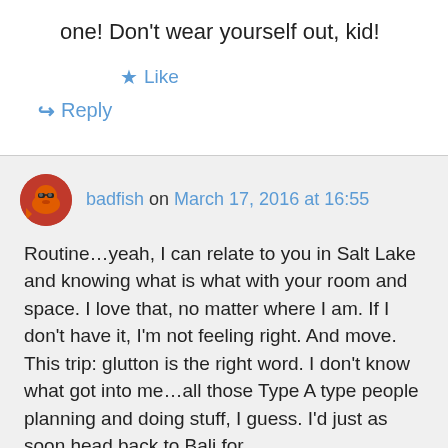one! Don't wear yourself out, kid!
★ Like
↳ Reply
badfish on March 17, 2016 at 16:55
Routine…yeah, I can relate to you in Salt Lake and knowing what is what with your room and space. I love that, no matter where I am. If I don't have it, I'm not feeling right. And move. This trip: glutton is the right word. I don't know what got into me…all those Type A type people planning and doing stuff, I guess. I'd just as soon head back to Bali for